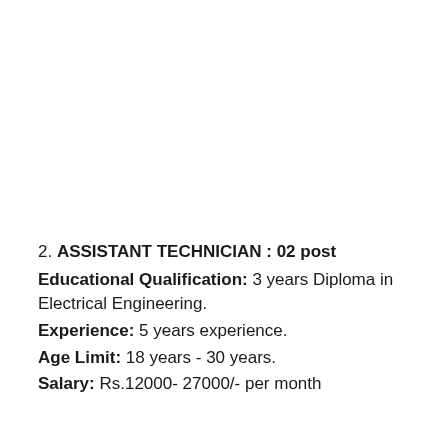2. ASSISTANT TECHNICIAN : 02 post
Educational Qualification: 3 years Diploma in Electrical Engineering.
Experience: 5 years experience.
Age Limit: 18 years - 30 years.
Salary: Rs.12000- 27000/- per month